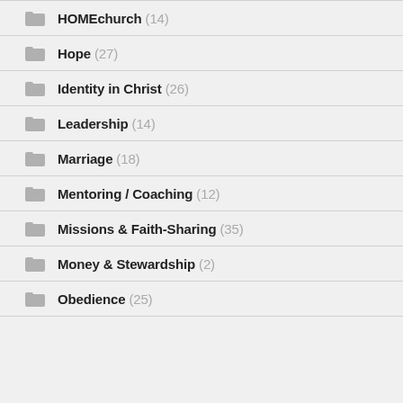HOMEchurch (14)
Hope (27)
Identity in Christ (26)
Leadership (14)
Marriage (18)
Mentoring / Coaching (12)
Missions & Faith-Sharing (35)
Money & Stewardship (2)
Obedience (25)